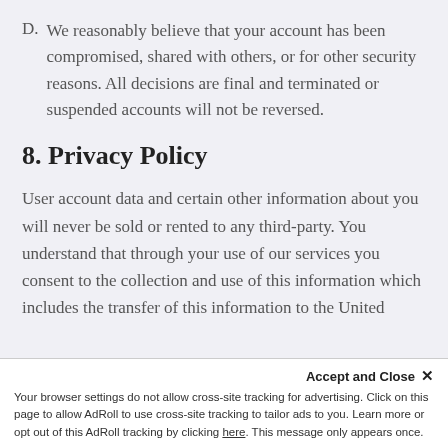D. We reasonably believe that your account has been compromised, shared with others, or for other security reasons. All decisions are final and terminated or suspended accounts will not be reversed.
8. Privacy Policy
User account data and certain other information about you will never be sold or rented to any third-party. You understand that through your use of our services you consent to the collection and use of this information which includes the transfer of this information to the United
Accept and Close ×
Your browser settings do not allow cross-site tracking for advertising. Click on this page to allow AdRoll to use cross-site tracking to tailor ads to you. Learn more or opt out of this AdRoll tracking by clicking here. This message only appears once.